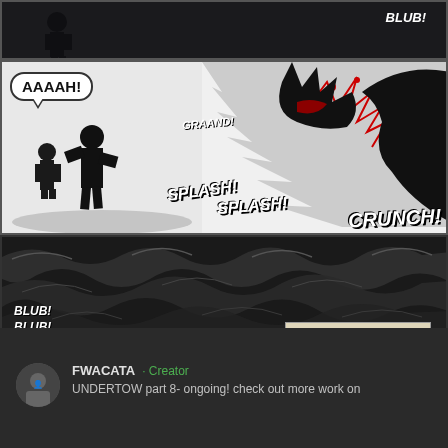[Figure (illustration): Comic book page panel 1: dark silhouette figure against black background with BLUB! sound effect text]
[Figure (illustration): Comic book page panel 2: AAAAH! speech bubble with silhouette figures on left, violent action scene with claws and blood on right, sound effects GRAAND!, SPLASH! SPLASH! CRUNCH!]
[Figure (illustration): Comic book page panel 3: Dark churning water waves in black and white, BLUB! BLUB! BLUB! sound effects on left, caption box reading 'THE WATER CALMED AGAIN & ALL I COULD HEAR WAS OUR BREATHING & THE BEATING HEARTS IN OUR THROAT...']
FWACATA · Creator
UNDERTOW part 8- ongoing! check out more work on